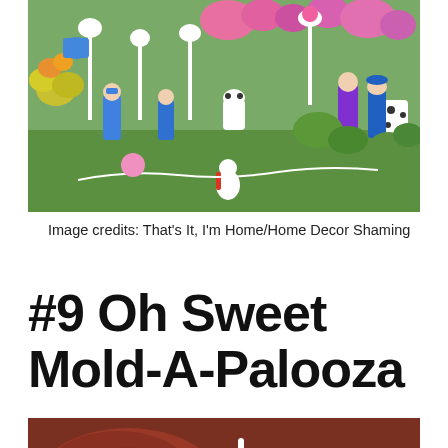[Figure (photo): A colorful garden yard display with many decorative painted wooden figures, flamingos, flowers (pink, yellow, purple blooms), and ornamental decorations on green grass. Very cluttered and festive garden ornament display.]
Image credits: That's It, I'm Home/Home Decor Shaming
#9 Oh Sweet Mold-A-Palooza
[Figure (photo): A close-up photo showing what appears to be moldy or textured food items, reddish-brown in color, with a white decorative stand or rack visible in the background.]